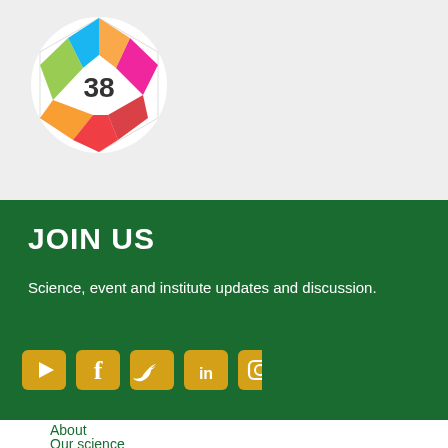[Figure (logo): Colorful polygonal gem/crystal logo with number 38 in center, on white circle background]
JOIN US
Science, event and institute updates and discussion.
[Figure (infographic): Social media icons: YouTube, Facebook, Twitter, LinkedIn, Instagram — yellow/gold rounded square icons]
About
Our science
Disclaimer